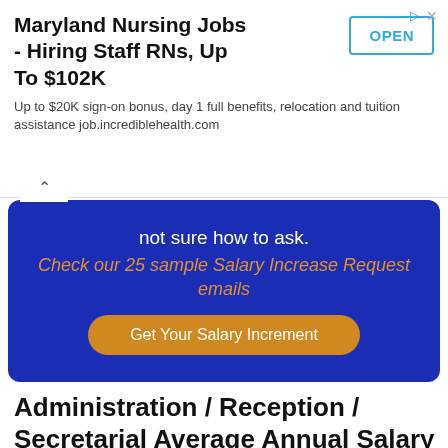[Figure (screenshot): Advertisement banner for Maryland Nursing Jobs with OPEN button]
not sure how to ask.
Check our 25 sample Salary Increase Request emails
Get Your Salary Increment
Administration / Reception / Secretarial Average Annual Salary Increment Percentage in Guatemala
How much are annual salary increments in Guatemala for Administration / Reception /